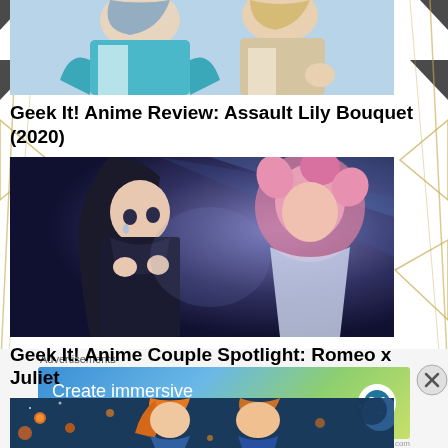[Figure (illustration): Partial top of anime illustration showing two characters - one in teal/blue outfit and one in lighter tones, cropped at the top]
Geek It! Anime Review: Assault Lily Bouquet (2020)
[Figure (illustration): Anime screenshot showing two female characters, one with long black hair in dark outfit and one with pink hair, in a dramatic pose]
Geek It! Anime Couple Spotlight: Romeo x Juliet
[Figure (illustration): Partial strip of anime image showing orange-haired character and another character against a blue night sky background]
Advertisements
[Figure (infographic): WordPress advertisement banner with gradient background reading 'Create immersive stories.' with 'GET THE APP' text and WordPress logo]